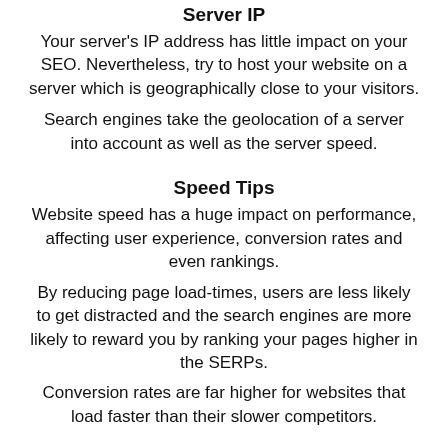Server IP
Your server's IP address has little impact on your SEO. Nevertheless, try to host your website on a server which is geographically close to your visitors.
Search engines take the geolocation of a server into account as well as the server speed.
Speed Tips
Website speed has a huge impact on performance, affecting user experience, conversion rates and even rankings.
By reducing page load-times, users are less likely to get distracted and the search engines are more likely to reward you by ranking your pages higher in the SERPs.
Conversion rates are far higher for websites that load faster than their slower competitors.